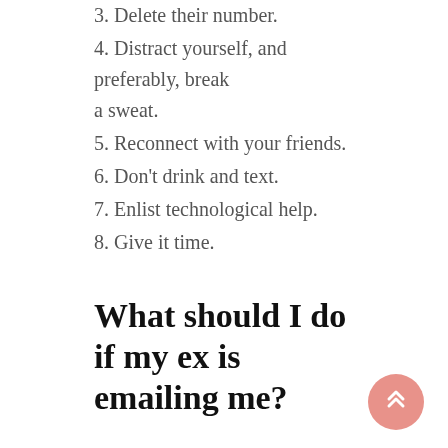3. Delete their number.
4. Distract yourself, and preferably, break a sweat.
5. Reconnect with your friends.
6. Don't drink and text.
7. Enlist technological help.
8. Give it time.
What should I do if my ex is emailing me?
Create a new email filter or account. Until this blows over, you may want to avoid seeing their correspondence. Most email clients make it easy to filter out unwanted messages.